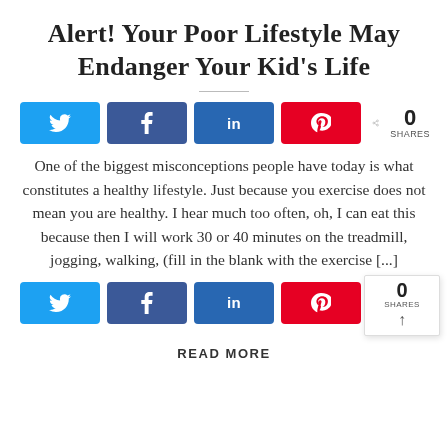Alert! Your Poor Lifestyle May Endanger Your Kid's Life
[Figure (other): Social share buttons row (Twitter, Facebook, LinkedIn, Pinterest) with share count of 0]
One of the biggest misconceptions people have today is what constitutes a healthy lifestyle. Just because you exercise does not mean you are healthy. I hear much too often, oh, I can eat this because then I will work 30 or 40 minutes on the treadmill, jogging, walking, (fill in the blank with the exercise [...]
[Figure (other): Social share buttons row (Twitter, Facebook, LinkedIn, Pinterest) with share count of 0 and popup overlay]
READ MORE